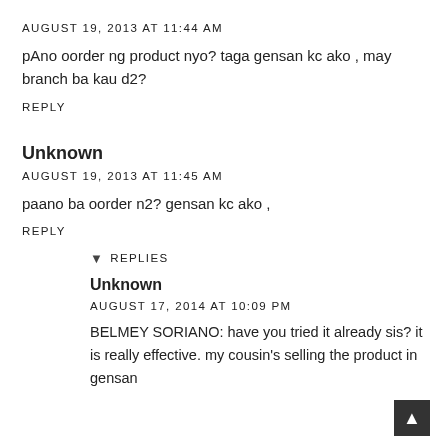AUGUST 19, 2013 AT 11:44 AM
pAno oorder ng product nyo? taga gensan kc ako , may branch ba kau d2?
REPLY
Unknown
AUGUST 19, 2013 AT 11:45 AM
paano ba oorder n2? gensan kc ako ,
REPLY
REPLIES
Unknown
AUGUST 17, 2014 AT 10:09 PM
BELMEY SORIANO: have you tried it already sis? it is really effective. my cousin's selling the product in gensan